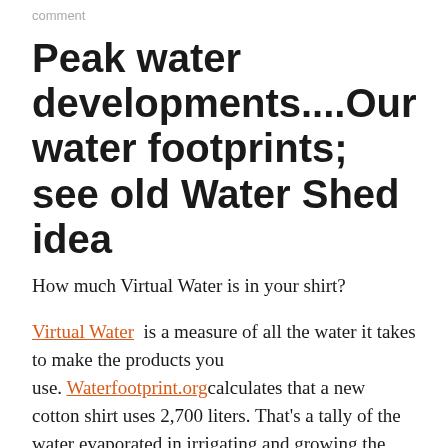comment
Peak water developments....Our water footprints; see old Water Shed idea
How much Virtual Water is in your shirt?
Virtual Water  is a measure of all the water it takes to make the products you use. Waterfootprint.org calculates that a new cotton shirt uses 2,700 liters. That's a tally of the water evaporated in irrigating and growing the